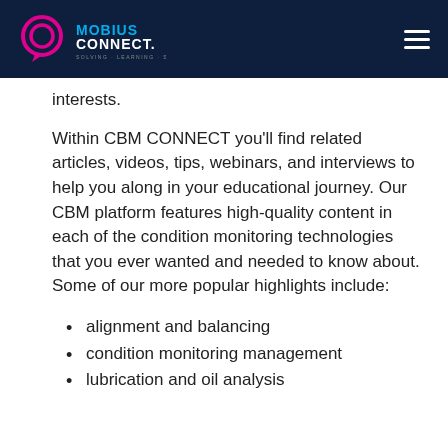Mobius Connect — SOLVING · LEARNING · SHARING
interests.
Within CBM CONNECT you'll find related articles, videos, tips, webinars, and interviews to help you along in your educational journey. Our CBM platform features high-quality content in each of the condition monitoring technologies that you ever wanted and needed to know about. Some of our more popular highlights include:
alignment and balancing
condition monitoring management
lubrication and oil analysis